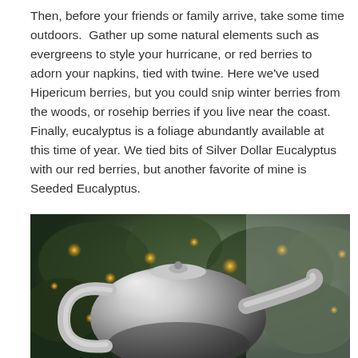Then, before your friends or family arrive, take some time outdoors.  Gather up some natural elements such as evergreens to style your hurricane, or red berries to adorn your napkins, tied with twine. Here we've used Hipericum berries, but you could snip winter berries from the woods, or rosehip berries if you live near the coast. Finally, eucalyptus is a foliage abundantly available at this time of year. We tied bits of Silver Dollar Eucalyptus with our red berries, but another favorite of mine is Seeded Eucalyptus.
[Figure (photo): A close-up photograph of a shiny silver metallic teapot or watering can in front of a blurred Christmas tree with warm bokeh lights in the background.]